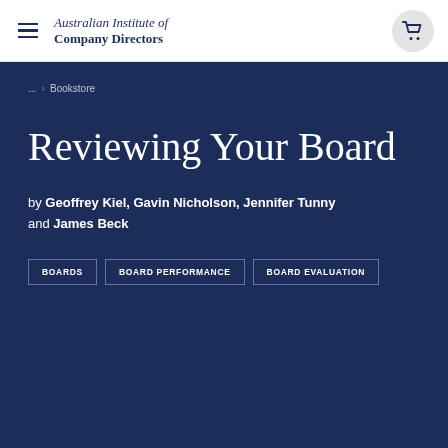Australian Institute of Company Directors
... > Bookstore
Reviewing Your Board
by Geoffrey Kiel, Gavin Nicholson, Jennifer Tunny and James Beck
BOARDS
BOARD PERFORMANCE
BOARD EVALUATION